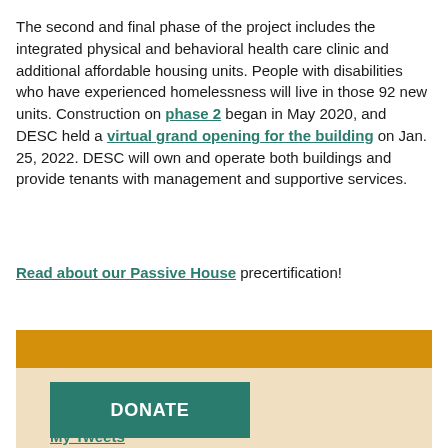The second and final phase of the project includes the integrated physical and behavioral health care clinic and additional affordable housing units. People with disabilities who have experienced homelessness will live in those 92 new units. Construction on phase 2 began in May 2020, and DESC held a virtual grand opening for the building on Jan. 25, 2022. DESC will own and operate both buildings and provide tenants with management and supportive services.
Read about our Passive House precertification!
[Figure (other): Orange horizontal banner bar]
[Figure (other): Beige sidebar/footer section with DONATE button and My Tweets link]